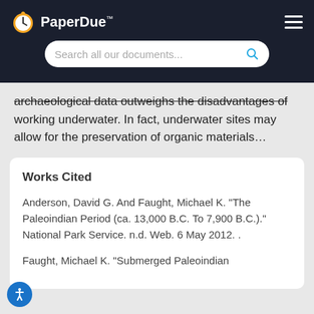PaperDue™ — Search all our documents...
archaeological data outweighs the disadvantages of working underwater. In fact, underwater sites may allow for the preservation of organic materials…
Works Cited
Anderson, David G. And Faught, Michael K. "The Paleoindian Period (ca. 13,000 B.C. To 7,900 B.C.)." National Park Service. n.d. Web. 6 May 2012. .
Faught, Michael K. "Submerged Paleoindian